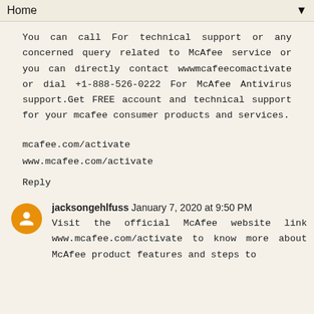Home
You can call For technical support or any concerned query related to McAfee service or you can directly contact wwwmcafeecomactivate or dial +1-888-526-0222 For McAfee Antivirus support.Get FREE account and technical support for your mcafee consumer products and services.
mcafee.com/activate
www.mcafee.com/activate
Reply
jacksongehlfuss January 7, 2020 at 9:50 PM
Visit the official McAfee website link www.mcafee.com/activate to know more about McAfee product features and steps to